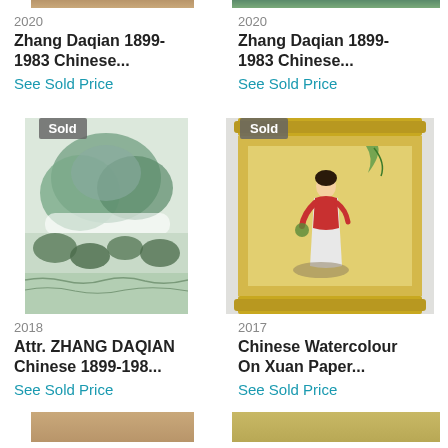[Figure (photo): Partial top of artwork image, left column, cropped]
[Figure (photo): Partial top of artwork image, right column, cropped]
2020
Zhang Daqian 1899-1983 Chinese...
See Sold Price
2020
Zhang Daqian 1899-1983 Chinese...
See Sold Price
[Figure (photo): Chinese landscape painting with mountains and trees, marked Sold]
[Figure (photo): Chinese scroll painting of a woman in red and white, yellow border, marked Sold]
2018
Attr. ZHANG DAQIAN Chinese 1899-198...
See Sold Price
2017
Chinese Watercolour On Xuan Paper...
See Sold Price
[Figure (photo): Partial bottom artwork image, left column, cropped]
[Figure (photo): Partial bottom artwork image, right column, cropped]